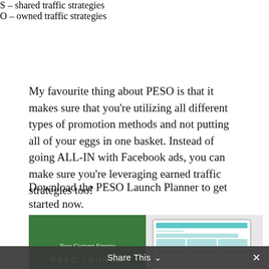S – shared traffic strategies
O – owned traffic strategies
My favourite thing about PESO is that it makes sure that you're utilizing all different types of promotion methods and not putting all of your eggs in one basket. Instead of going ALL-IN with Facebook ads, you can make sure you're leveraging earned traffic strategies too!
Download the PESO Launch Planner to get started now.
[Figure (illustration): PESO Launch Promo Planner product image showing green branded left panel with text 'Your Content Empire PESO LAUNCH PROMO PLANNER' and right panel showing a tablet with a spreadsheet/planner, plus a circular chat button]
Share This ∨  ×